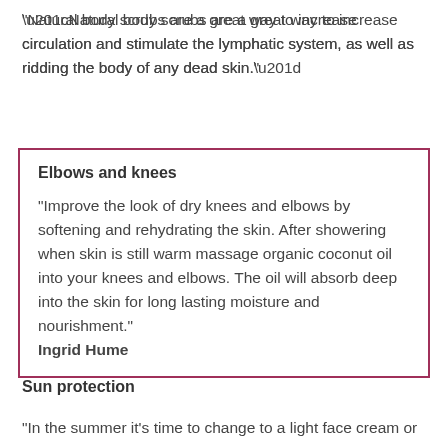“Natural body scrubs are a great way to increase circulation and stimulate the lymphatic system, as well as ridding the body of any dead skin.”
Elbows and knees
“Improve the look of dry knees and elbows by softening and rehydrating the skin. After showering when skin is still warm massage organic coconut oil into your knees and elbows. The oil will absorb deep into the skin for long lasting moisture and nourishment.” Ingrid Hume
Sun protection
“In the summer it’s time to change to a light face cream or